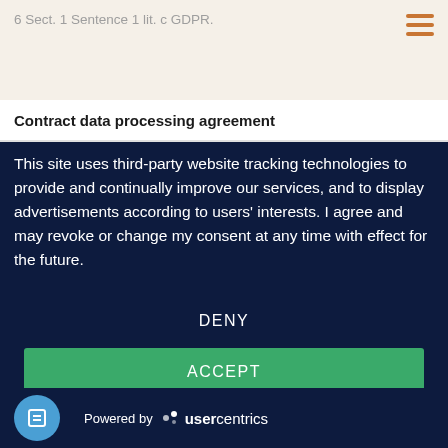6 Sect. 1 Sentence 1 lit. c GDPR.
Contract data processing agreement
This site uses third-party website tracking technologies to provide and continually improve our services, and to display advertisements according to users' interests. I agree and may revoke or change my consent at any time with effect for the future.
DENY
ACCEPT
MORE
Powered by usercentrics